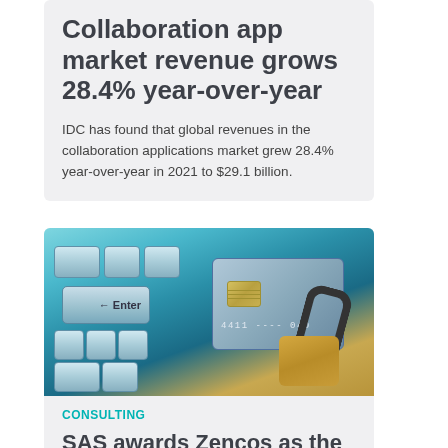Collaboration app market revenue grows 28.4% year-over-year
IDC has found that global revenues in the collaboration applications market grew 28.4% year-over-year in 2021 to $29.1 billion.
[Figure (photo): A photo of a keyboard with an Enter key, a credit card with a chip, and a padlock resting on top — representing cybersecurity or financial data security.]
CONSULTING
SAS awards Zencos as the 2022 A/NZ